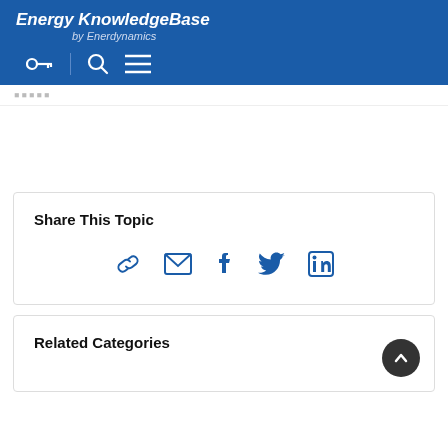Energy KnowledgeBase by Enerdynamics
[Figure (screenshot): Website header with logo, key icon, search icon, and hamburger menu on blue background]
[breadcrumb navigation bar]
Share This Topic
[Figure (infographic): Social sharing icons: link/chain, email, Facebook, Twitter, LinkedIn in blue]
Related Categories